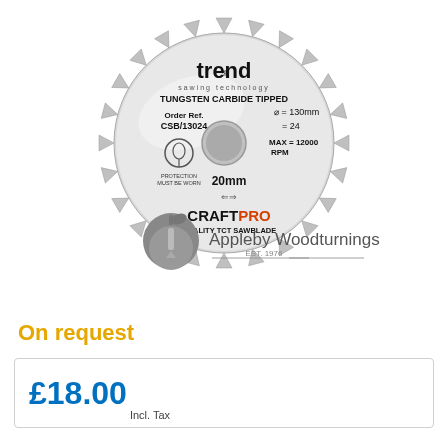[Figure (photo): Trend CraftPro Tungsten Carbide Tipped circular saw blade, 130mm diameter, 24 teeth, 20mm bore, max 12000 RPM, Order Ref. CSB/13024. Shown with Appleby Woodturnings Limited logo and EST. 1976 text below.]
On request
£18.00 Incl. Tax